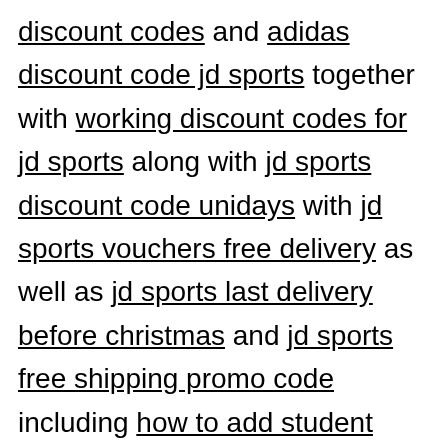discount codes and adidas discount code jd sports together with working discount codes for jd sports along with jd sports discount code unidays with jd sports vouchers free delivery as well as jd sports last delivery before christmas and jd sports free shipping promo code including how to add student discount on jd sports also jd